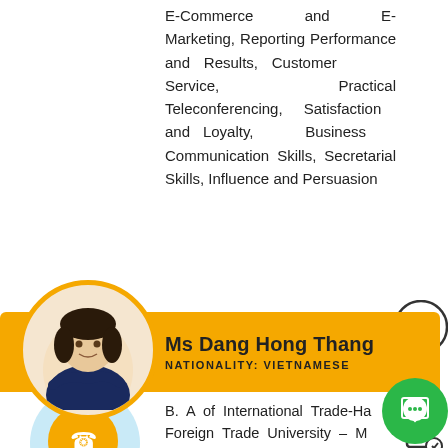E-Commerce and E-Marketing, Reporting Performance and Results, Customer Service, Practical Teleconferencing, Satisfaction and Loyalty, Business Communication Skills, Secretarial Skills, Influence and Persuasion
[Figure (photo): Profile photo of Ms Dang Hong Thang, a Vietnamese woman with short dark hair, wearing a navy blue polo shirt, arms crossed, smiling]
Ms Dang Hong Thang
NATIONALITY: VIETNAMESE
B. A of International Trade-Ha... Foreign Trade University – M... United Business Institute (Brussels-Belgium).
Experiences: 22 years exper... sales and customer service